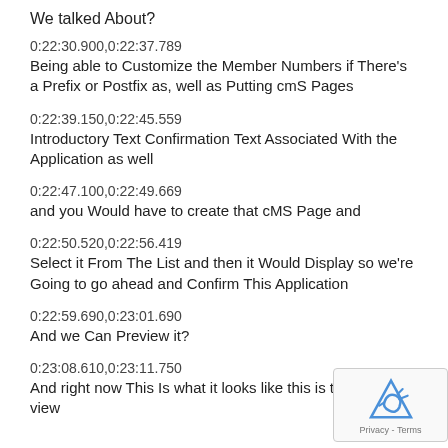We talked About?
0:22:30.900,0:22:37.789
Being able to Customize the Member Numbers if There's a Prefix or Postfix as, well as Putting cmS Pages
0:22:39.150,0:22:45.559
Introductory Text Confirmation Text Associated With the Application as well
0:22:47.100,0:22:49.669
and you Would have to create that cMS Page and
0:22:50.520,0:22:56.419
Select it From The List and then it Would Display so we're Going to go ahead and Confirm This Application
0:22:59.690,0:23:01.690
And we Can Preview it?
0:23:08.610,0:23:11.750
And right now This Is what it looks like this is the A view